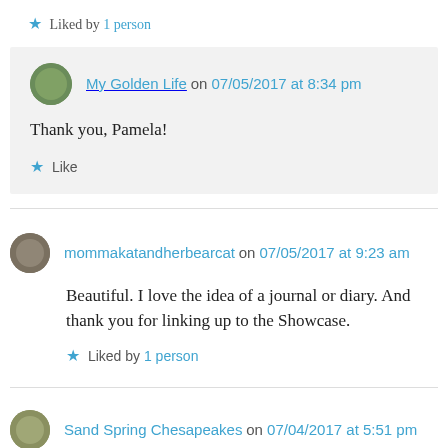★ Liked by 1 person
My Golden Life on 07/05/2017 at 8:34 pm
Thank you, Pamela!
★ Like
mommakatandherbearcat on 07/05/2017 at 9:23 am
Beautiful. I love the idea of a journal or diary. And thank you for linking up to the Showcase.
★ Liked by 1 person
Sand Spring Chesapeakes on 07/04/2017 at 5:51 pm